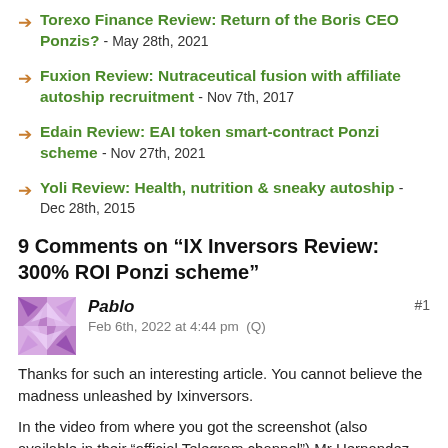Torexo Finance Review: Return of the Boris CEO Ponzis? - May 28th, 2021
Fuxion Review: Nutraceutical fusion with affiliate autoship recruitment - Nov 7th, 2017
Edain Review: EAI token smart-contract Ponzi scheme - Nov 27th, 2021
Yoli Review: Health, nutrition & sneaky autoship - Dec 28th, 2015
9 Comments on “IX Inversors Review: 300% ROI Ponzi scheme”
Pablo
Feb 6th, 2022 at 4:44 pm  (Q)
#1
Thanks for such an interesting article. You cannot believe the madness unleashed by Ixinversors.
In the video from where you got the screenshot (also available in their “official Telegram channel”) Mr Hernandez reports that